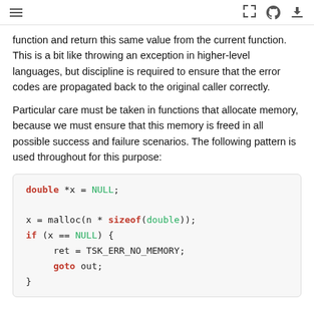≡  [ ]  GitHub  Download
function and return this same value from the current function. This is a bit like throwing an exception in higher-level languages, but discipline is required to ensure that the error codes are propagated back to the original caller correctly.
Particular care must be taken in functions that allocate memory, because we must ensure that this memory is freed in all possible success and failure scenarios. The following pattern is used throughout for this purpose:
double *x = NULL;

x = malloc(n * sizeof(double));
if (x == NULL) {
    ret = TSK_ERR_NO_MEMORY;
    goto out;
}